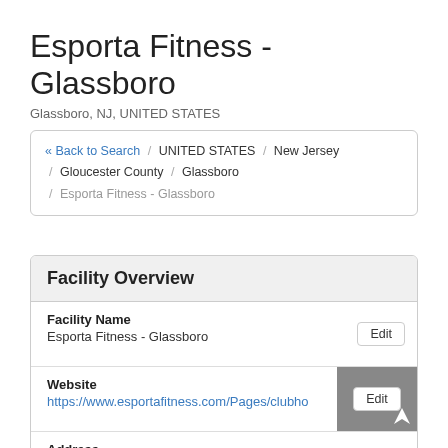Esporta Fitness - Glassboro
Glassboro, NJ, UNITED STATES
« Back to Search / UNITED STATES / New Jersey / Gloucester County / Glassboro / Esporta Fitness - Glassboro
Facility Overview
Facility Name
Esporta Fitness - Glassboro
Website
https://www.esportafitness.com/Pages/clubho
Address
731 Delsea Drive North